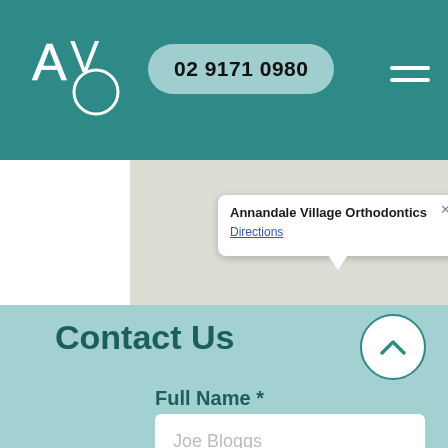[Figure (screenshot): Website header with teal background showing AVO logo on the left, a rounded pill-shaped phone number button '02 9171 0980' in light teal, and a hamburger menu icon on the right.]
[Figure (map): Google Maps screenshot with a light beige/grey map area. A popup info window shows 'Annandale Village Orthodontics' in bold with a 'Directions' link below. The popup has a tail pointing down to the map marker.]
Contact Us
Full Name *
Joe Bloggs